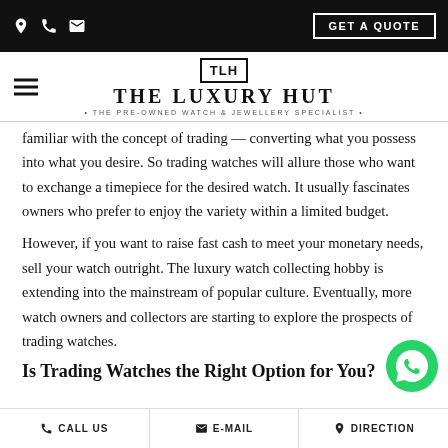THE LUXURY HUT — The Pre-Owned Watch & Jewellery Specialist
familiar with the concept of trading — converting what you possess into what you desire. So trading watches will allure those who want to exchange a timepiece for the desired watch. It usually fascinates owners who prefer to enjoy the variety within a limited budget.
However, if you want to raise fast cash to meet your monetary needs, sell your watch outright. The luxury watch collecting hobby is extending into the mainstream of popular culture. Eventually, more watch owners and collectors are starting to explore the prospects of trading watches.
Is Trading Watches the Right Option for You?
CALL US   E-MAIL   DIRECTION